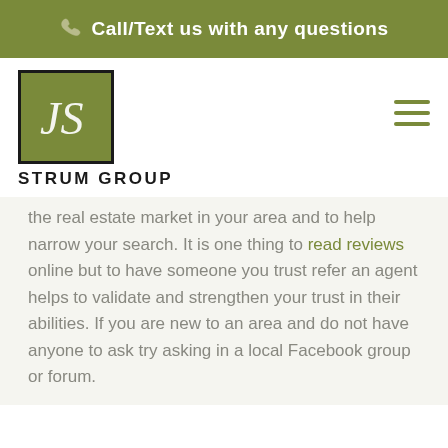Call/Text us with any questions
[Figure (logo): JS Strum Group logo — stylized JS monogram in white script on olive/green square background with dark border]
STRUM GROUP
the real estate market in your area and to help narrow your search. It is one thing to read reviews online but to have someone you trust refer an agent helps to validate and strengthen your trust in their abilities. If you are new to an area and do not have anyone to ask try asking in a local Facebook group or forum.